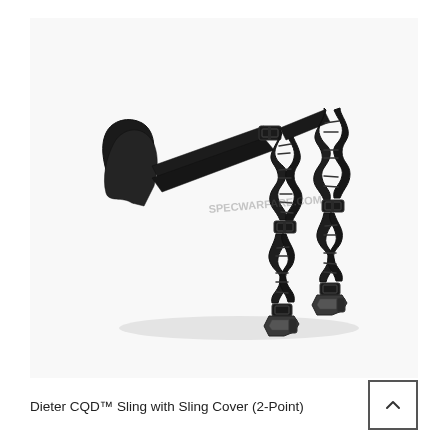[Figure (photo): Product photo of a black Dieter CQD two-point sling with bungee sections and metal snap hooks, displayed on a white background with a faint watermark reading SPECWARFARE.COM]
Dieter CQD™ Sling with Sling Cover (2-Point)